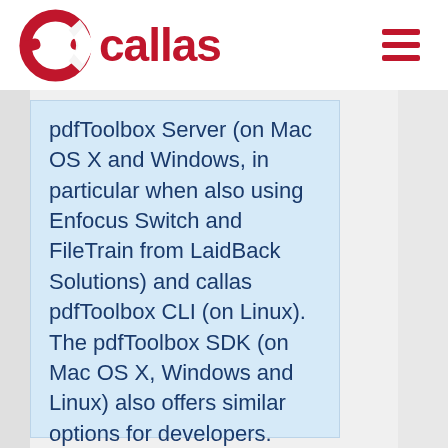callas
pdfToolbox Server (on Mac OS X and Windows, in particular when also using Enfocus Switch and FileTrain from LaidBack Solutions) and callas pdfToolbox CLI (on Linux). The pdfToolbox SDK (on Mac OS X, Windows and Linux) also offers similar options for developers.